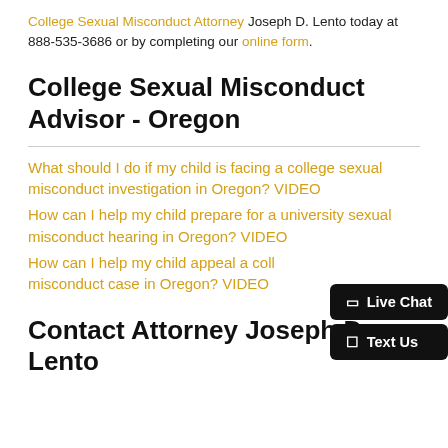College Sexual Misconduct Attorney Joseph D. Lento today at 888-535-3686 or by completing our online form.
College Sexual Misconduct Advisor - Oregon
What should I do if my child is facing a college sexual misconduct investigation in Oregon? VIDEO
How can I help my child prepare for a university sexual misconduct hearing in Oregon? VIDEO
How can I help my child appeal a college sexual misconduct case in Oregon? VIDEO
Contact Attorney Joseph D. Lento